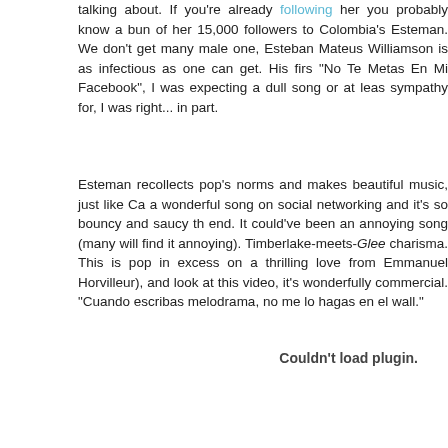talking about. If you're already following her you probably know a bunch about her 15,000 followers to Colombia's Esteman. We don't get many male one, Esteban Mateus Williamson is as infectious as one can get. His first "No Te Metas En Mi Facebook", I was expecting a dull song or at least one to sympathy for, I was right... in part.
Esteman recollects pop's norms and makes beautiful music, just like Ca a wonderful song on social networking and it's so bouncy and saucy the end. It could've been an annoying song (many will find it annoying). Timberlake-meets-Glee charisma. This is pop in excess on a thrilling love from Emmanuel Horvilleur), and look at this video, it's wonderfully commercial. "Cuando escribas melodrama, no me lo hagas en el wall."
Couldn't load plugin.